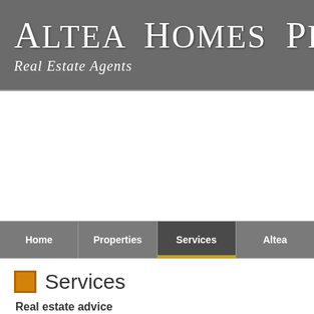Altea Homes Projects
Real Estate Agents
Home
Properties
Services
Altea
Services
Real estate advice